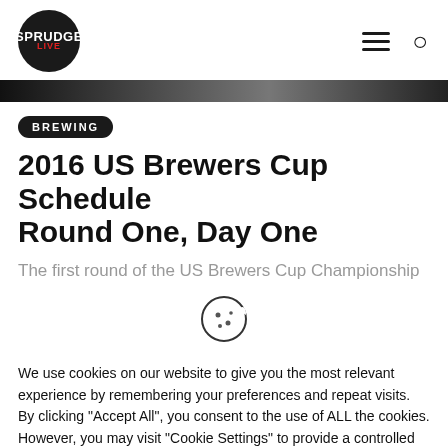SPRUDGE LIVE — navigation header with hamburger menu and search icon
[Figure (photo): Hero image strip — partial photograph, dark tones]
BREWING
2016 US Brewers Cup Schedule Round One, Day One
The first round of the US Brewers Cup Championship kicks
We use cookies on our website to give you the most relevant experience by remembering your preferences and repeat visits. By clicking "Accept All", you consent to the use of ALL the cookies. However, you may visit "Cookie Settings" to provide a controlled consent.
Cookie Settings | Accept All